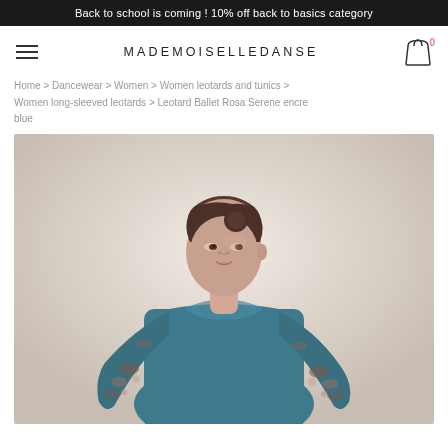Back to school is coming ! 10% off back to basics category
MADEMOISELLEDANSE
Home > Dancewear > Women > Women leotards and tunics > Women long-sleeved leotards > Leotard Ballet Rosa Serene encre blue
[Figure (photo): Model wearing a teal/encre blue long-sleeved ballet leotard with floral mesh sleeves and neckline detail, photographed from the waist up against a light pink-beige studio background.]